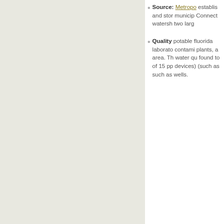[Figure (map): A light grey/beige map area occupying the left portion of the page.]
Source: Metropo... established and stor... municipal... Connect... watersh... two larg...
Quality: potable fluoridated laboratory contami plants, a area. Th water qu found to of 15 pp devices) (such as such as wells.